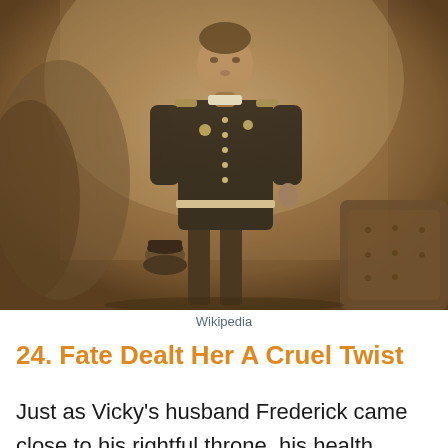[Figure (photo): Sepia-toned vintage photograph of a young man in military uniform standing in a formal portrait pose, holding a military hat, with a tufted chair visible to the right and a painted backdrop behind him.]
Wikipedia
24. Fate Dealt Her A Cruel Twist
Just as Vicky's husband Frederick came close to his rightful throne, his health started